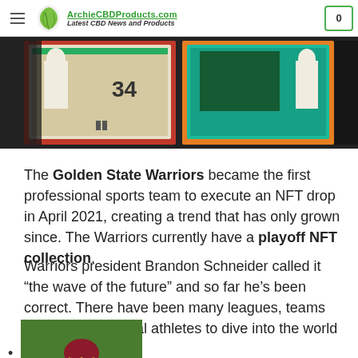Latest CBD News and Products
[Figure (photo): Banner image showing football scoreboard/arena with red, orange, teal color panels and players in white uniforms]
The Golden State Warriors became the first professional sports team to execute an NFT drop in April 2021, creating a trend that has only grown since. The Warriors currently have a playoff NFT collection.
Warriors president Brandon Schneider called it “the wave of the future” and so far he’s been correct. There have been many leagues, teams and even individual athletes to dive into the world of NFTs.
[photo of football player in maroon uniform in a crouching stance]